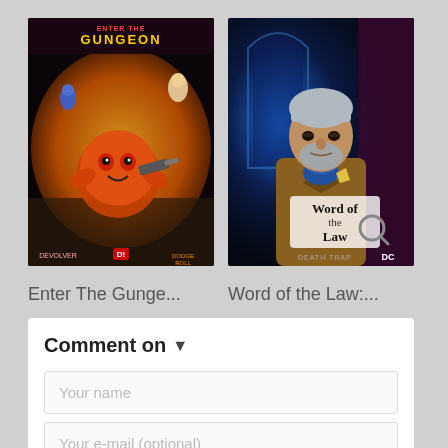[Figure (photo): Cover art for 'Enter The Gungeon' game — colorful animated style with characters and guns]
Enter The Gunge...
[Figure (photo): Cover art for 'Word of the Law' game — man in tweed jacket with mystery/detective theme]
Word of the Law:...
Comment on ▾
Your name
Your e-mail (optional)